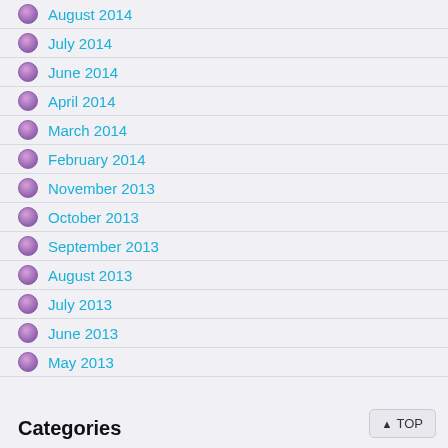August 2014
July 2014
June 2014
April 2014
March 2014
February 2014
November 2013
October 2013
September 2013
August 2013
July 2013
June 2013
May 2013
Categories